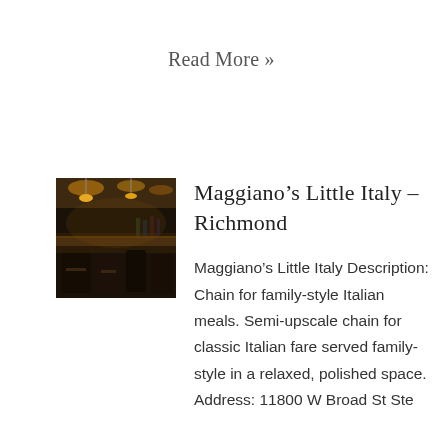Read More »
Maggiano's Little Italy – Richmond
[Figure (photo): Interior of Maggiano's Little Italy restaurant showing a dimly lit bar and dining area with warm golden lighting, dark wood furnishings, and pendant lights overhead.]
Maggiano's Little Italy Description: Chain for family-style Italian meals. Semi-upscale chain for classic Italian fare served family-style in a relaxed, polished space. Address: 11800 W Broad St Ste